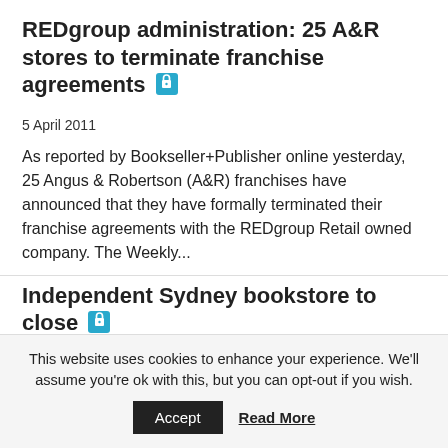REDgroup administration: 25 A&R stores to terminate franchise agreements
5 April 2011
As reported by Bookseller+Publisher online yesterday, 25 Angus & Robertson (A&R) franchises have announced that they have formally terminated their franchise agreements with the REDgroup Retail owned company. The Weekly...
Independent Sydney bookstore to close
15 February 2011
Independent Sydney bookstore Zabriskie Booksellers has announced that it will close down next week. The bookstore, which is located in the former Martin Smith's bookstore building on Hall Street in...
QLD bookstore releases iPhone App
31 January 2011
This website uses cookies to enhance your experience. We'll assume you're ok with this, but you can opt-out if you wish.